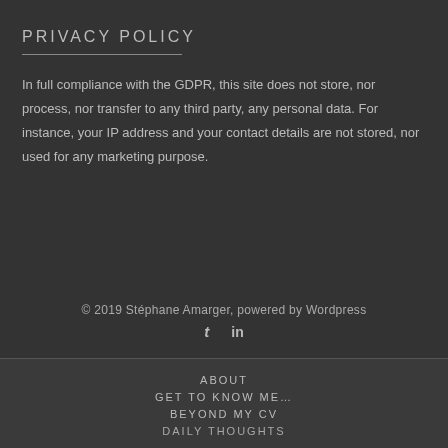PRIVACY POLICY
In full compliance with the GDPR, this site does not store, nor process, nor transfer to any third party, any personal data. For instance, your IP address and your contact details are not stored, nor used for any marketing purpose.
© 2019 Stéphane Amarger, powered by Wordpress
ABOUT
GET TO KNOW ME…
BEYOND MY CV
DAILY THOUGHTS